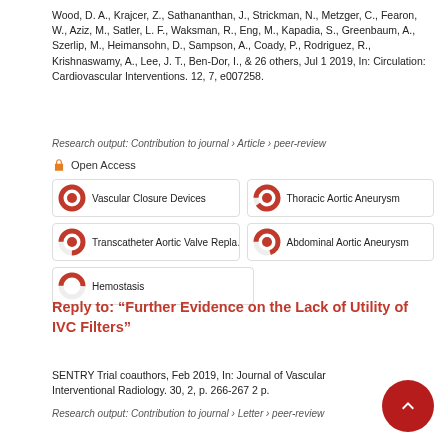Wood, D. A., Krajcer, Z., Sathananthan, J., Strickman, N., Metzger, C., Fearon, W., Aziz, M., Satler, L. F., Waksman, R., Eng, M., Kapadia, S., Greenbaum, A., Szerlip, M., Heimansohn, D., Sampson, A., Coady, P., Rodriguez, R., Krishnaswamy, A., Lee, J. T., Ben-Dor, I., & 26 others, Jul 1 2019, In: Circulation: Cardiovascular Interventions. 12, 7, e007258.
Research output: Contribution to journal › Article › peer-review
Open Access
[Figure (infographic): Five keyword badge indicators with donut-style percentage icons: Vascular Closure Devices (100%), Thoracic Aortic Aneurysm (~90%), Transcatheter Aortic Valve Replacement (~75%), Abdominal Aortic Aneurysm (~70%), Hemostasis (~50%)]
Reply to: “Further Evidence on the Lack of Utility of IVC Filters”
SENTRY Trial coauthors, Feb 2019, In: Journal of Vascular Interventional Radiology. 30, 2, p. 266-267 2 p.
Research output: Contribution to journal › Letter › peer-review